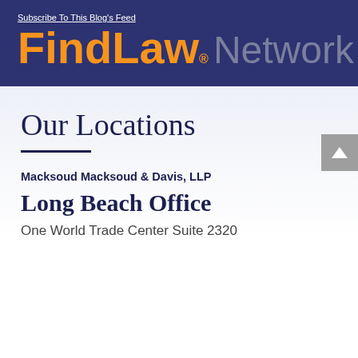[Figure (logo): FindLaw Network logo banner with dark navy background. Text reads 'Subscribe To This Blog's Feed' in white underlined, then 'FindLaw' in large orange bold font with registered trademark symbol, followed by 'Network' in gray.]
Our Locations
Macksoud Macksoud & Davis, LLP
Long Beach Office
One World Trade Center Suite 2320